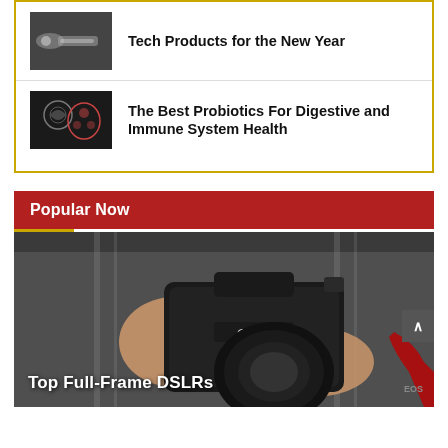Tech Products for the New Year
The Best Probiotics For Digestive and Immune System Health
Popular Now
[Figure (photo): Person holding a Canon DSLR camera, hands gripping the body and lens, wearing a grey hoodie]
Top Full-Frame DSLRs